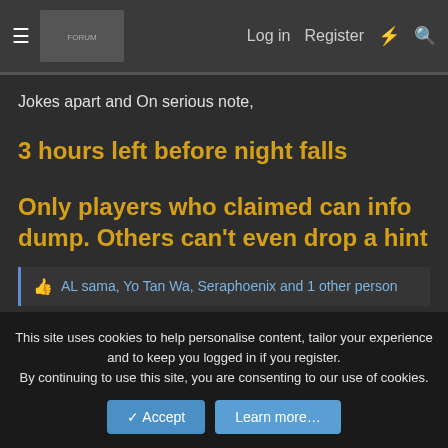≡  [logo]  Log in  Register  ⚡  🔍
Jokes apart and On serious note,
3 hours left before night falls
Only players who claimed can info dump. Others can't even drop a hint
👍 AL sama, Yo Tan Wa, Seraphoenix and 1 other person
This site uses cookies to help personalise content, tailor your experience and to keep you logged in if you register.
By continuing to use this site, you are consenting to our use of cookies.
Accept  Learn more…